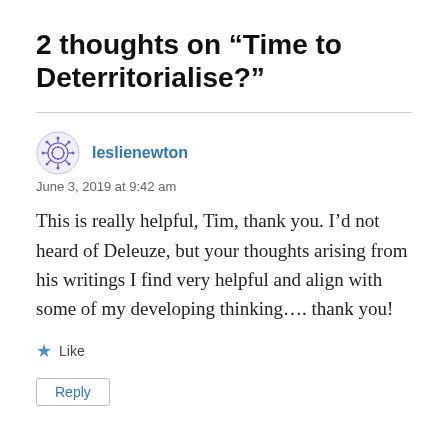2 thoughts on “Time to Deterritorialise?”
leslienewton
June 3, 2019 at 9:42 am
This is really helpful, Tim, thank you. I’d not heard of Deleuze, but your thoughts arising from his writings I find very helpful and align with some of my developing thinking…. thank you!
★ Like
Reply